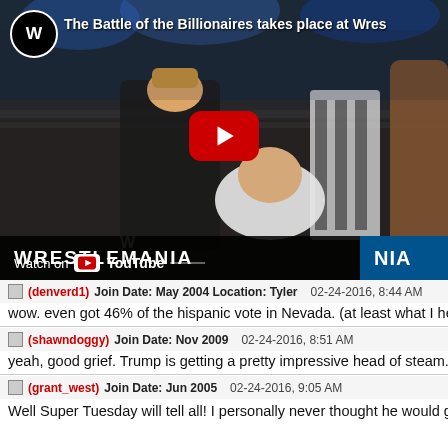[Figure (screenshot): WWE YouTube video thumbnail showing 'The Battle of the Billionaires takes place at WrestleMania' with a WrestleMania scene and a large red YouTube play button. Bottom bar shows 'Watch on YouTube' and 'WRESTLEMANIA NIA' text.]
(denverd1)   Join Date: May 2004 Location: Tyler   02-24-2016, 8:44 AM
wow. even got 46% of the hispanic vote in Nevada. (at least what I hear
(shawndoggy)   Join Date: Nov 2009   02-24-2016, 8:51 AM
yeah, good grief. Trump is getting a pretty impressive head of steam. An
(grant_west)   Join Date: Jun 2005   02-24-2016, 9:05 AM
Well Super Tuesday will tell all! I personally never thought he would ge